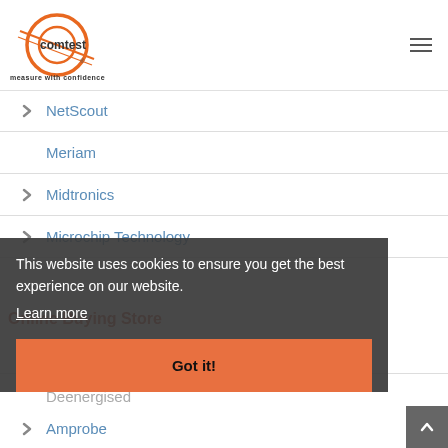[Figure (logo): Comtest logo with orange circle and text 'measure with confidence']
NetScout
Meriam
Midtronics
Microchip Technology
This website uses cookies to ensure you get the best experience on our website.
Learn more
Online Buying Store
All Test Pro
Got it!
Deenergised
Amprobe